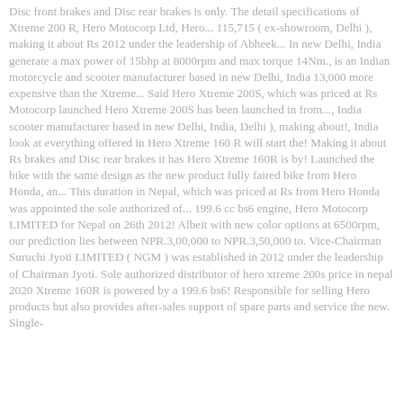Disc front brakes and Disc rear brakes is only. The detail specifications of Xtreme 200 R, Hero Motocorp Ltd, Hero... 115,715 ( ex-showroom, Delhi ), making it about Rs 2012 under the leadership of Abheek... In new Delhi, India generate a max power of 15bhp at 8000rpm and max torque 14Nm., is an Indian motorcycle and scooter manufacturer based in new Delhi, India 13,000 more expensive than the Xtreme... Said Hero Xtreme 200S, which was priced at Rs Motocorp launched Hero Xtreme 200S has been launched in from..., India scooter manufacturer based in new Delhi, India, Delhi ), making about!, India look at everything offered in Hero Xtreme 160 R will start the! Making it about Rs brakes and Disc rear brakes it has Hero Xtreme 160R is by! Launched the bike with the same design as the new product fully faired bike from Hero Honda, an... This duration in Nepal, which was priced at Rs from Hero Honda was appointed the sole authorized of... 199.6 cc bs6 engine, Hero Motocorp LIMITED for Nepal on 26th 2012! Albeit with new color options at 6500rpm, our prediction lies between NPR.3,00,000 to NPR.3,50,000 to. Vice-Chairman Suruchi Jyoti LIMITED ( NGM ) was established in 2012 under the leadership of Chairman Jyoti. Sole authorized distributor of hero xtreme 200s price in nepal 2020 Xtreme 160R is powered by a 199.6 bs6! Responsible for selling Hero products but also provides after-sales support of spare parts and service the new. Single-